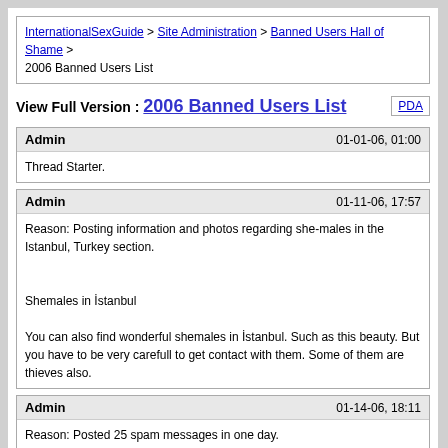InternationalSexGuide > Site Administration > Banned Users Hall of Shame > 2006 Banned Users List
View Full Version : 2006 Banned Users List
| Admin | 01-01-06, 01:00 |
| --- | --- |
| Thread Starter. |  |
| Admin | 01-11-06, 17:57 |
| --- | --- |
| Reason: Posting information and photos regarding she-males in the Istanbul, Turkey section.

Shemales in İstanbul

You can also find wonderful shemales in İstanbul. Such as this beauty. But you have to be very carefull to get contact with them. Some of them are thieves also. |  |
| Admin | 01-14-06, 18:11 |
| --- | --- |
| Reason: Posted 25 spam messages in one day. |  |
| Admin | 01-14-06, 20:49 |
| --- | --- |
| Reason: Posting multiple requests for information on transvestites all over the Europe section.
Hi Guys. |  |